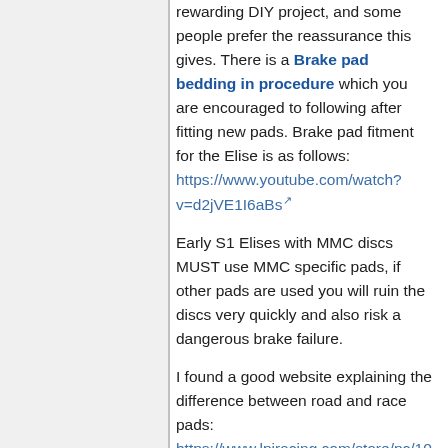rewarding DIY project, and some people prefer the reassurance this gives. There is a Brake pad bedding in procedure which you are encouraged to following after fitting new pads. Brake pad fitment for the Elise is as follows: https://www.youtube.com/watch?v=d2jVE1I6aBs
Early S1 Elises with MMC discs MUST use MMC specific pads, if other pads are used you will ruin the discs very quickly and also risk a dangerous brake failure.
I found a good website explaining the difference between road and race pads: https://www.lpiracing.com/store/pc/10-Things-You-Need-To-Know-About-Auto-Racing-Brake-Pads-d8.htm
Below is a list of after market manufacturers with descriptions, and real-world experiences (if available).